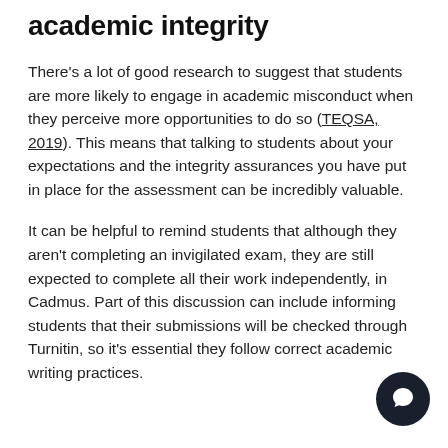academic integrity
There's a lot of good research to suggest that students are more likely to engage in academic misconduct when they perceive more opportunities to do so (TEQSA, 2019). This means that talking to students about your expectations and the integrity assurances you have put in place for the assessment can be incredibly valuable.
It can be helpful to remind students that although they aren't completing an invigilated exam, they are still expected to complete all their work independently, in Cadmus. Part of this discussion can include informing students that their submissions will be checked through Turnitin, so it's essential they follow correct academic writing practices.